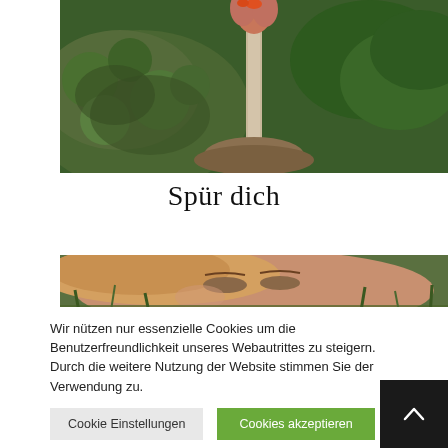[Figure (photo): Nature photo showing a hand with orange nail polish holding a thin branch/twig against a mossy rock and green foliage background]
Spür dich
[Figure (photo): Close-up photo of a woman's face with closed eyes surrounded by green grass or plants]
Wir nützen nur essenzielle Cookies um die Benutzerfreundlichkeit unseres Webautrittes zu steigern. Durch die weitere Nutzung der Website stimmen Sie der Verwendung zu.
Cookie Einstellungen
Cookies akzeptieren